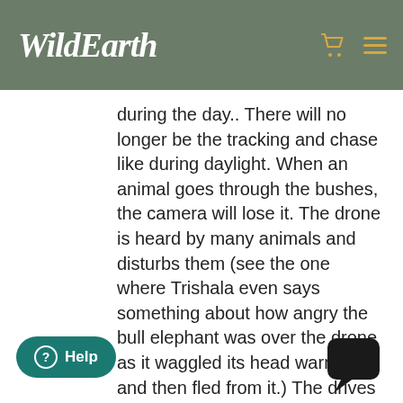WildEarth
during the day.. There will no longer be the tracking and chase like during daylight. When an animal goes through the bushes, the camera will lose it. The drone is heard by many animals and disturbs them (see the one where Trishala even says something about how angry the bull elephant was over the drone as it waggled its head warning it and then fled from it.) The drives have changed, and not for the good. I will say goodbye as I can no longer see them live. Good Luck, however the drone is a loss for viewers